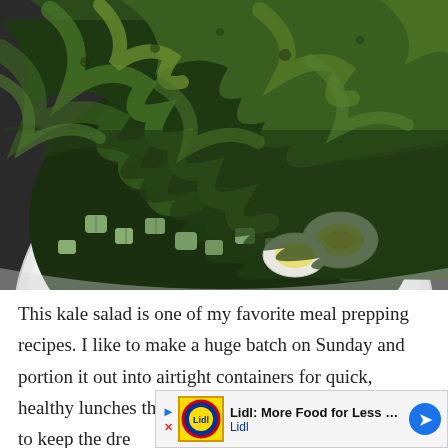[Figure (photo): Close-up overhead photo of a kale salad in a white bowl, showing chopped dark green kale leaves, diced cucumber or zucchini, and sliced hard-boiled egg, on a dark gray background.]
This kale salad is one of my favorite meal prepping recipes. I like to make a huge batch on Sunday and portion it out into airtight containers for quick, healthy lunches throughout the week. Just remember to keep the dre
[Figure (other): Advertisement banner: Lidl: More Food for Less Money — Lidl. Shows Lidl logo in yellow box, blue play button, red X close button, and blue circular arrow icon on the right.]